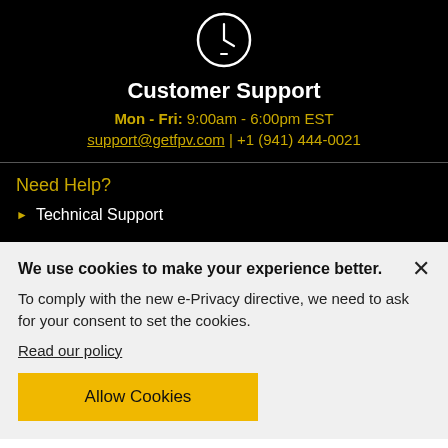[Figure (illustration): Clock icon — white circular clock outline with clock hands, on black background]
Customer Support
Mon - Fri: 9:00am - 6:00pm EST
support@getfpv.com | +1 (941) 444-0021
Need Help?
Technical Support
We use cookies to make your experience better.
To comply with the new e-Privacy directive, we need to ask for your consent to set the cookies.
Read our policy
Allow Cookies